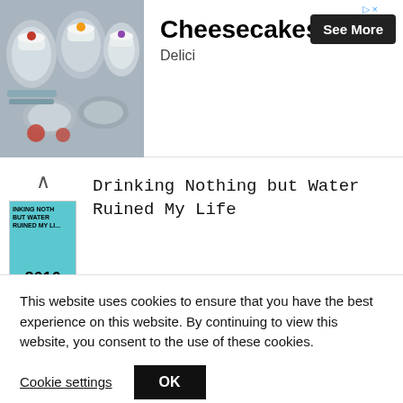[Figure (photo): Advertisement banner for Cheesecakes from Delici, showing various desserts in jars with a See More button]
Drinking Nothing but Water Ruined My Life
8616
SHARES
[Figure (other): Social share buttons: Facebook (f), Twitter (bird), Pinterest (P)]
This website uses cookies to ensure that you have the best experience on this website. By continuing to view this website, you consent to the use of these cookies.
Cookie settings   OK